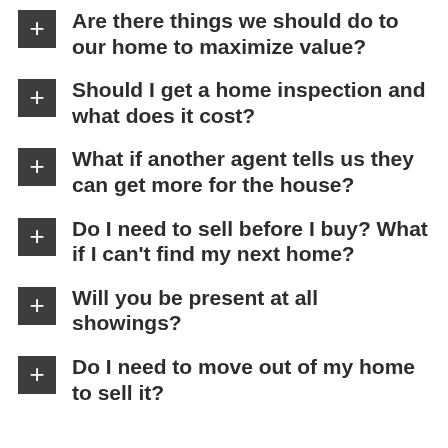Are there things we should do to our home to maximize value?
Should I get a home inspection and what does it cost?
What if another agent tells us they can get more for the house?
Do I need to sell before I buy? What if I can't find my next home?
Will you be present at all showings?
Do I need to move out of my home to sell it?